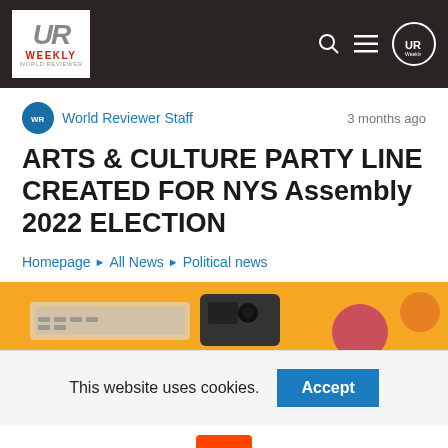UR Weekly
World Reviewer Staff  •  3 months ago
ARTS & CULTURE PARTY LINE CREATED FOR NYS Assembly 2022 ELECTION
Homepage › All News › Political news
[Figure (photo): Orange-background image showing tech/camera equipment]
This website uses cookies.  Accept